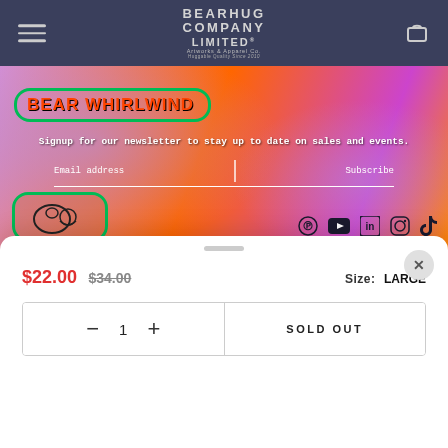BEARHUG COMPANY LIMITED — Artworks & Apparel Co. — Huggable Quality Since 2010
[Figure (screenshot): Colorful e-commerce website hero banner with orange/purple psychedelic background. Newsletter signup with email address field and Subscribe button. Social media icons for Pinterest, YouTube, LinkedIn, Instagram, TikTok.]
Signup for our newsletter to stay up to date on sales and events.
Email address   Subscribe
$22.00  $34.00   Size: LARGE
− 1 +   SOLD OUT